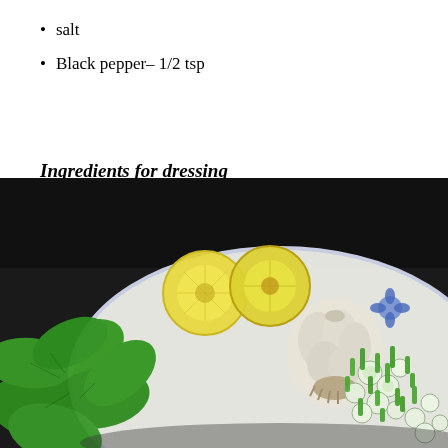salt
Black pepper– 1/2 tsp
Ingredients for dressing
[Figure (photo): A white plate on a dark background containing fresh mint leaves, two halved lemons, a whole garlic bulb, and chopped green onions/scallions.]